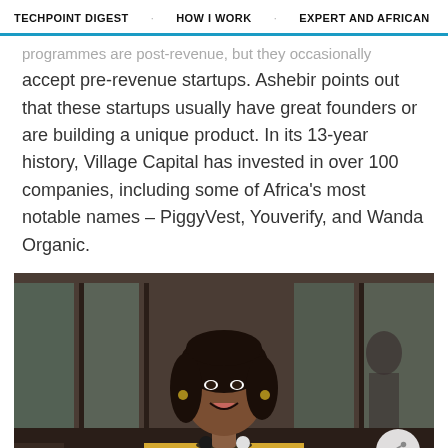TECHPOINT DIGEST | HOW I WORK | EXPERT AND AFRICAN | EQUITY
programmes are post-revenue, but they occasionally accept pre-revenue startups. Ashebir points out that these startups usually have great founders or are building a unique product. In its 13-year history, Village Capital has invested in over 100 companies, including some of Africa's most notable names – PiggyVest, Youverify, and Wanda Organic.
[Figure (photo): A smiling young woman wearing a yellow sleeveless top and a black and white beaded necklace, seated in what appears to be a restaurant or cafe setting with glass windows and blurred people in the background.]